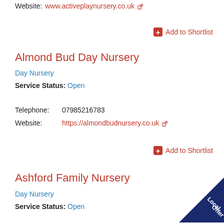Website:   www.activeplaynursery.co.uk
Add to Shortlist
Almond Bud Day Nursery
Day Nursery
Service Status: Open
Telephone:  07985216783
Website:    https://almondbudnursery.co.uk
Add to Shortlist
Ashford Family Nursery
Day Nursery
Service Status: Open
[Figure (illustration): Local Offer corner badge in dark navy blue]